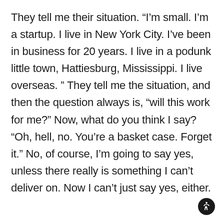They tell me their situation. “I’m small. I’m a startup. I live in New York City. I’ve been in business for 20 years. I live in a podunk little town, Hattiesburg, Mississippi. I live overseas. ” They tell me the situation, and then the question always is, “will this work for me?” Now, what do you think I say? “Oh, hell, no. You’re a basket case. Forget it.” No, of course, I’m going to say yes, unless there really is something I can’t deliver on. Now I can’t just say yes, either.